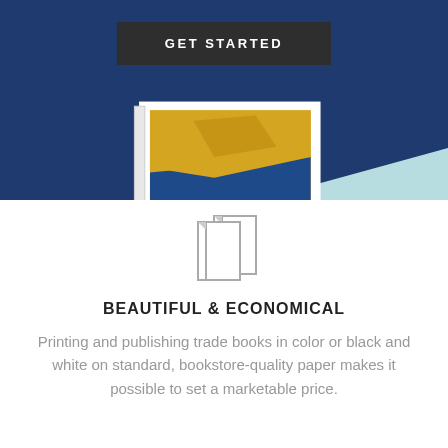[Figure (screenshot): Dark navy blue background section with a 'GET STARTED' button in dark grey, and a partial view of a framed landscape book/print showing golden desert and blue water. A teal triangle decorative element in the bottom right corner.]
[Figure (illustration): Grey outline icon of two overlapping open books or pamphlets.]
BEAUTIFUL & ECONOMICAL
Printing and publishing trade books in color or black and white on standard, bookstore-quality paper makes it possible to set a marketable price.